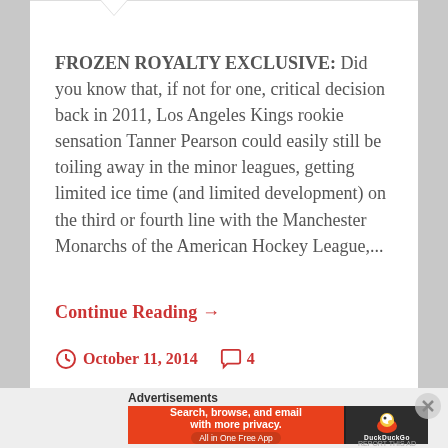FROZEN ROYALTY EXCLUSIVE: Did you know that, if not for one, critical decision back in 2011, Los Angeles Kings rookie sensation Tanner Pearson could easily still be toiling away in the minor leagues, getting limited ice time (and limited development) on the third or fourth line with the Manchester Monarchs of the American Hockey League,...
Continue Reading →
October 11, 2014   4
Advertisements
[Figure (other): DuckDuckGo advertisement banner: 'Search, browse, and email with more privacy. All in One Free App' with DuckDuckGo logo on dark background]